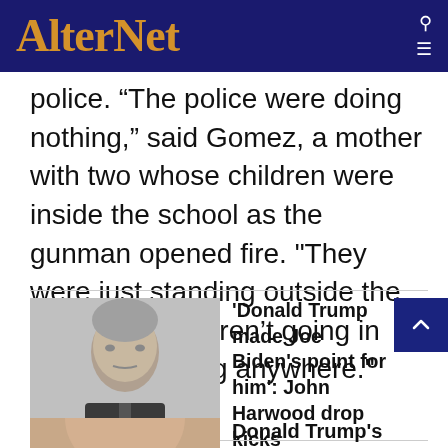AlterNet
police. “The police were doing nothing,” said Gomez, a mother with two whose children were inside the school as the gunman opened fire. "They were just standing outside the fence. They weren’t going in there or running anywhere."
[Figure (photo): Headshot of a middle-aged man with grey hair in a suit, identified as John Harwood]
'Donald Trump made Joe Biden's point for him': John Harwood drop kicks Republicans and then quits CNN
[Figure (photo): Partial face close-up of a person, likely Donald Trump]
Donald Trump's 'terrified and frazzled' Newsmax interview